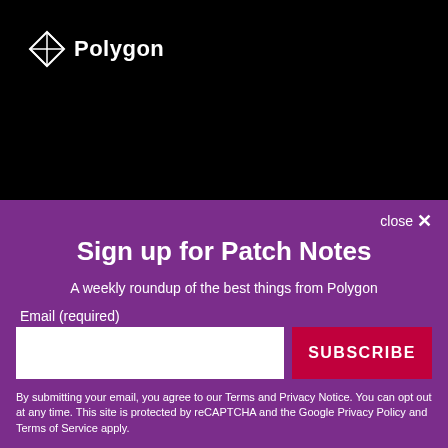[Figure (logo): Polygon logo with geometric diamond/kite icon and 'Polygon' wordmark in white on black background]
close ✕
Sign up for Patch Notes
A weekly roundup of the best things from Polygon
Email (required)
SUBSCRIBE
By submitting your email, you agree to our Terms and Privacy Notice. You can opt out at any time. This site is protected by reCAPTCHA and the Google Privacy Policy and Terms of Service apply.